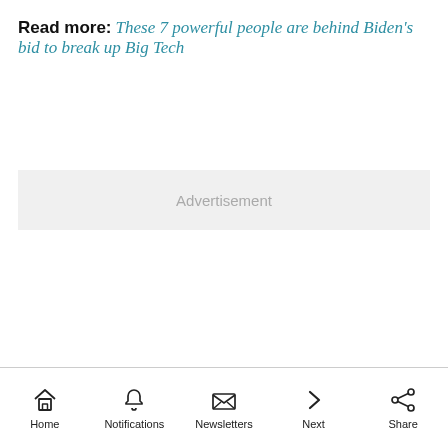Read more: These 7 powerful people are behind Biden's bid to break up Big Tech
Advertisement
Home | Notifications | Newsletters | Next | Share